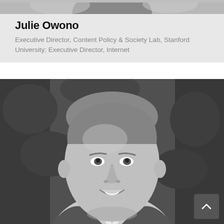[Figure (photo): Top portion of a black and white photo, showing partial view of a person]
Julie Owono
Executive Director, Content Policy & Society Lab, Stanford University; Executive Director, Internet
[Figure (photo): Black and white headshot of a man smiling, wearing a suit and tie, with foliage in the background]